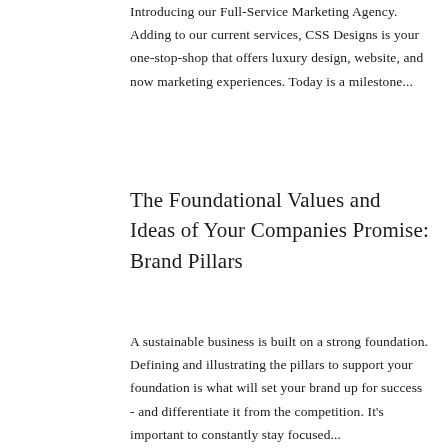Introducing our Full-Service Marketing Agency. Adding to our current services, CSS Designs is your one-stop-shop that offers luxury design, website, and now marketing experiences. Today is a milestone...
The Foundational Values and Ideas of Your Companies Promise: Brand Pillars
A sustainable business is built on a strong foundation. Defining and illustrating the pillars to support your foundation is what will set your brand up for success - and differentiate it from the competition. It's important to constantly stay focused...